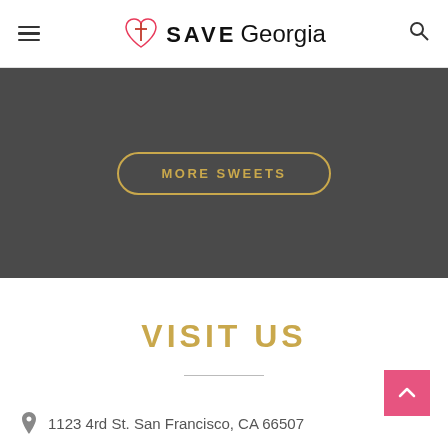SAVE Georgia
[Figure (other): Dark banner section with 'MORE SWEETS' button in gold border]
VISIT US
1123 4rd St. San Francisco, CA 66507